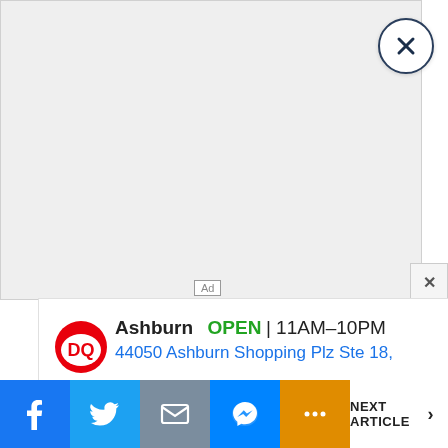[Figure (screenshot): Large gray advertisement placeholder area with a circular close button (X) in the top-right corner and a smaller square X close button at the bottom-right edge. An 'Ad' label appears near the bottom center of the gray area.]
[Figure (screenshot): Dairy Queen (DQ) local ad banner showing: DQ logo, 'Ashburn OPEN | 11AM-10PM', address '44050 Ashburn Shopping Plz Ste 18,', blue navigation arrow icon, and play/close icons below.]
[Figure (screenshot): Bottom social sharing bar with Facebook (blue), Twitter (light blue), Mail (gray), Messenger (blue), More/ellipsis (orange) buttons, and a 'NEXT ARTICLE >' link on the right.]